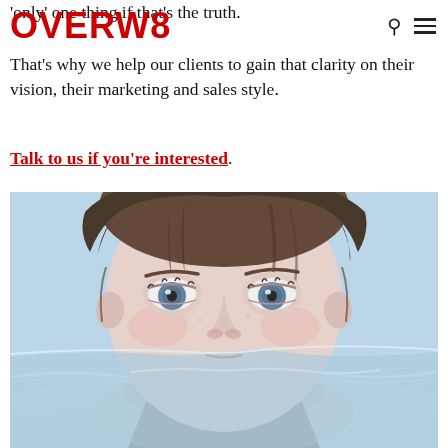'only' one thing if that's the truth.
OVERW8
That's why we help our clients to gain that clarity on their vision, their marketing and sales style.
Talk to us if you're interested.
[Figure (photo): Close-up photo of a young child with blue eyes, face partially submerged in water, looking directly at the camera with a calm expression.]